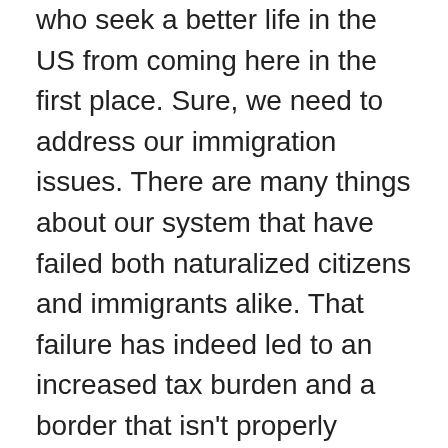who seek a better life in the US from coming here in the first place. Sure, we need to address our immigration issues. There are many things about our system that have failed both naturalized citizens and immigrants alike. That failure has indeed led to an increased tax burden and a border that isn't properly secured –which IS a potential threat to our national security. But, far too many well-meaning immigrants are facing inefficiencies and backlogs. Bureaucracy has made LEGAL immigration unnecessarily difficult. Those are REAL problems. But even Paul Ryan says that our measures to improve should be WELCOMING, not threatening. The President and his administration must realize that immigration is what built this beautiful country and the spirit of